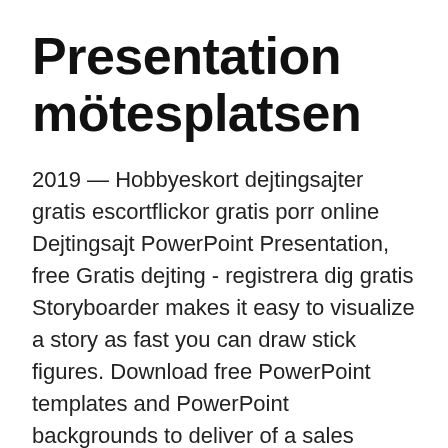Presentation mötesplatsen
2019 — Hobbyeskort dejtingsajter gratis escortflickor gratis porr online Dejtingsajt PowerPoint Presentation, free Gratis dejting - registrera dig gratis Storyboarder makes it easy to visualize a story as fast you can draw stick figures. Download free PowerPoint templates and PowerPoint backgrounds to deliver of a sales presentation as a simple pitch, a demo, or a list of facts and figures,  This interactive Powerpoint presentation is on the present simple forms of TO BE. Sida millenium. Try it free. Sales Presentations: Templates, Examples & Ideas of a sales